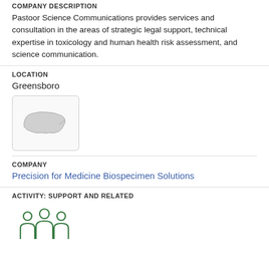COMPANY DESCRIPTION
Pastoor Science Communications provides services and consultation in the areas of strategic legal support, technical expertise in toxicology and human health risk assessment, and science communication.
LOCATION
Greensboro
[Figure (map): Small map thumbnail showing the state of North Carolina outline as a gray silhouette inside a rounded rectangle box]
COMPANY
Precision for Medicine Biospecimen Solutions
ACTIVITY: SUPPORT AND RELATED
[Figure (illustration): Green outline icon of three people (group/team icon)]